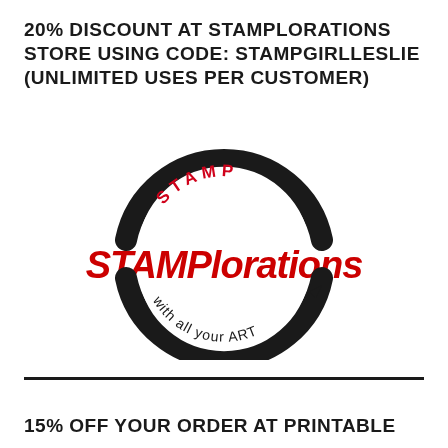20% DISCOUNT AT STAMPLORATIONS STORE USING CODE: STAMPGIRLLESLIE (UNLIMITED USES PER CUSTOMER)
[Figure (logo): STAMPlorations logo: circular stamp design with 'STAMP' text arcing at top, large bold red 'STAMPlorations' text in center, and 'with all your ART' text arcing at bottom, all in a round stamp style graphic]
15% OFF YOUR ORDER AT PRINTABLE